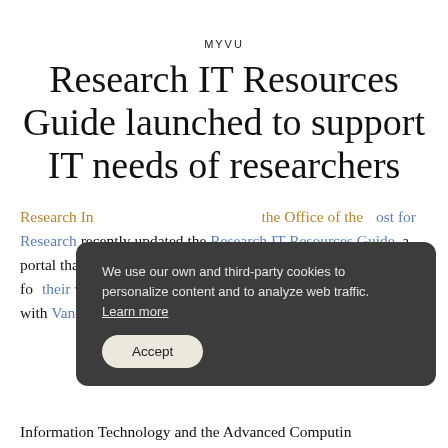MYVU
Research IT Resources Guide launched to support IT needs of researchers
Research Information Technology and the Office of the Provost for Research recently updated the Research IT Resources Guide, a portal that enables researchers to select appropriate IT resources for their workflows. Research IT Service collaborated closely with Vanderbilt University Information Technology and the Advanced Computing
[Figure (screenshot): Cookie consent popup overlay with dark gray background showing text: 'We use our own and third-party cookies to personalize content and to analyze web traffic. Learn more' and an 'Accept' button with rounded pill shape in light beige color.]